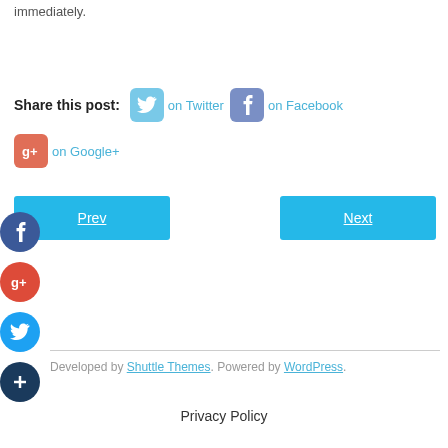immediately.
Share this post:  on Twitter   on Facebook   on Google+
Prev
Next
[Figure (illustration): Facebook circle icon (dark blue)]
[Figure (illustration): Google+ circle icon (red)]
[Figure (illustration): Twitter circle icon (blue)]
[Figure (illustration): Plus/share circle icon (dark navy)]
Developed by Shuttle Themes. Powered by WordPress.
Privacy Policy